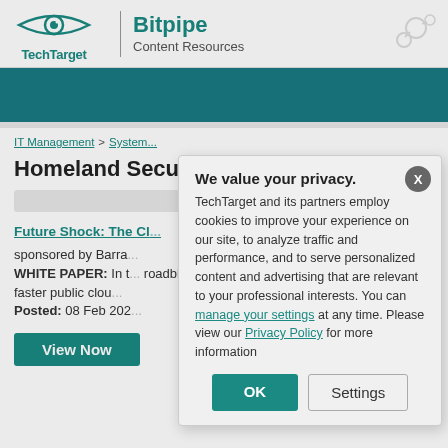TechTarget | Bitpipe Content Resources
IT Management > System...
Homeland Secu...
Future Shock: The Cl...
sponsored by Barra...
WHITE PAPER: In t... roadblocks the integ... infrastructure comes... for faster public clou...
Posted: 08 Feb 202...
[Figure (screenshot): Privacy consent modal dialog overlay on Bitpipe/TechTarget page. Modal says: We value your privacy. TechTarget and its partners employ cookies to improve your experience on our site, to analyze traffic and performance, and to serve personalized content and advertising that are relevant to your professional interests. You can manage your settings at any time. Please view our Privacy Policy for more information. Buttons: OK, Settings. Close button (X) top right.]